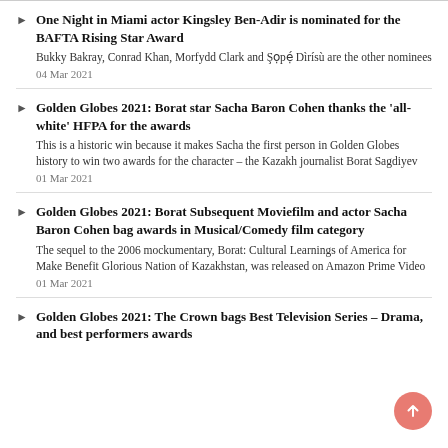One Night in Miami actor Kingsley Ben-Adir is nominated for the BAFTA Rising Star Award
Bukky Bakray, Conrad Khan, Morfydd Clark and Şọpẹ́ Dìrísù are the other nominees
04 Mar 2021
Golden Globes 2021: Borat star Sacha Baron Cohen thanks the 'all-white' HFPA for the awards
This is a historic win because it makes Sacha the first person in Golden Globes history to win two awards for the character – the Kazakh journalist Borat Sagdiyev
01 Mar 2021
Golden Globes 2021: Borat Subsequent Moviefilm and actor Sacha Baron Cohen bag awards in Musical/Comedy film category
The sequel to the 2006 mockumentary, Borat: Cultural Learnings of America for Make Benefit Glorious Nation of Kazakhstan, was released on Amazon Prime Video
01 Mar 2021
Golden Globes 2021: The Crown bags Best Television Series – Drama, and best performers awards